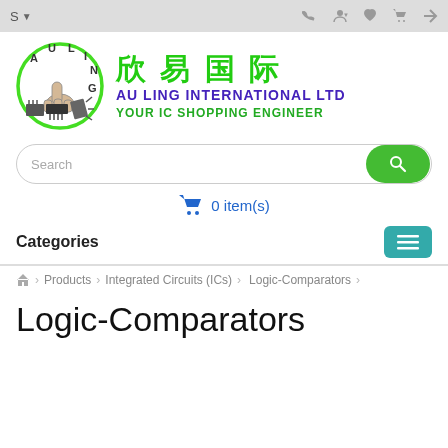S  ☎  👤  ♥  🛒  ↩
[Figure (logo): Au Ling International Ltd logo with Chinese text 欣易国际, company name AU LING INTERNATIONAL LTD, and slogan YOUR IC SHOPPING ENGINEER. Circle logo with thumbs up and electronic components.]
Search
0 item(s)
Categories
🏠  >  Products  >  Integrated Circuits (ICs)  >  Logic-Comparators
Logic-Comparators